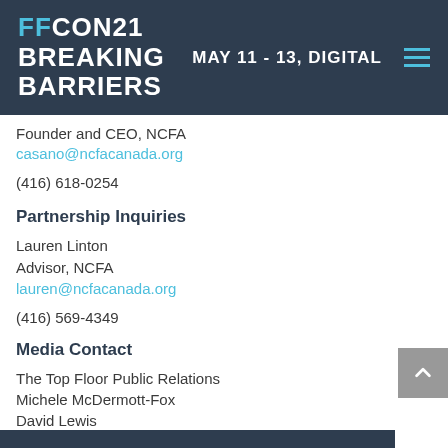FFCON21 BREAKING BARRIERS | MAY 11 - 13, DIGITAL
Founder and CEO, NCFA
casano@ncfacanada.org
(416) 618-0254
Partnership Inquiries
Lauren Linton
Advisor, NCFA
lauren@ncfacanada.org
(416) 569-4349
Media Contact
The Top Floor Public Relations
Michele McDermott-Fox
David Lewis
pr@thetopflooragency.com